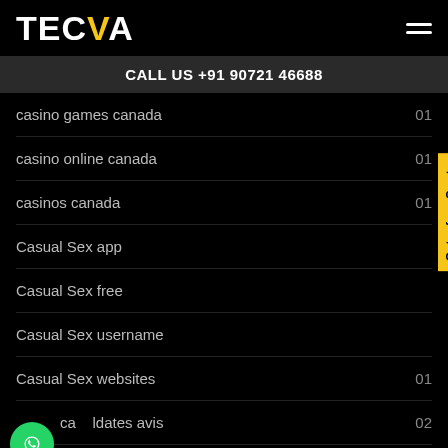TEC VA
CALL US +91 90721 46688
casino games canada  01
casino online canada  01
casinos canada  01
Casual Sex app
Casual Sex free
Casual Sex username
Casual Sex websites  01
casualdates avis  02
CasualDates review  01